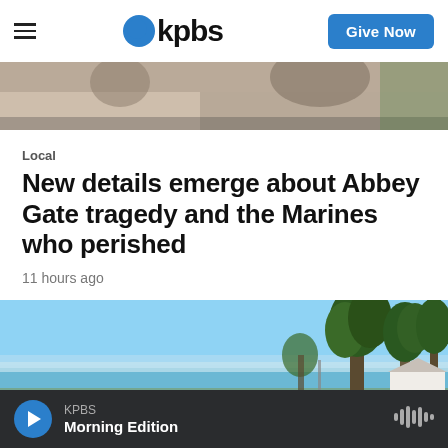KPBS — Give Now
[Figure (photo): Cropped photo strip at top of page, partially showing people]
Local
New details emerge about Abbey Gate tragedy and the Marines who perished
11 hours ago
[Figure (photo): Coastal landscape photo showing blue sky, ocean horizon, cypress trees, and a white house]
KPBS Morning Edition